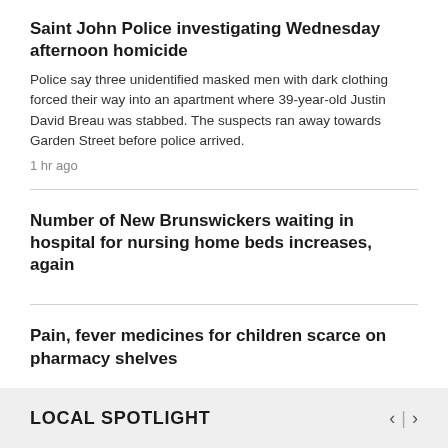Saint John Police investigating Wednesday afternoon homicide
Police say three unidentified masked men with dark clothing forced their way into an apartment where 39-year-old Justin David Breau was stabbed. The suspects ran away towards Garden Street before police arrived.
1 hr ago
Number of New Brunswickers waiting in hospital for nursing home beds increases, again
Pain, fever medicines for children scarce on pharmacy shelves
LOCAL SPOTLIGHT